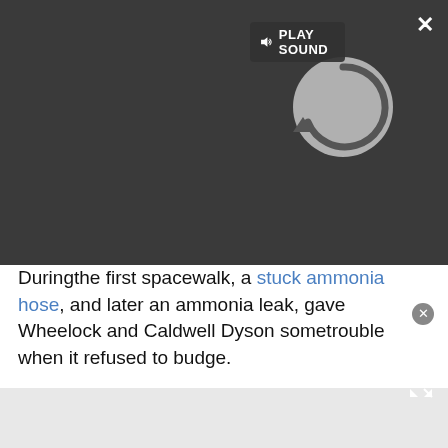[Figure (screenshot): Video player overlay on dark grey background showing a loading spinner (circular arrow icon) in the video area. A 'PLAY SOUND' button with speaker icon is at the top of the video. An X close button is at top right. An expand arrows icon is at bottom right of the overlay.]
Duringthe first spacewalk, a stuck ammonia hose, and later an ammonia leak, gave Wheelock and Caldwell Dyson sometrouble when it refused to budge.
"Ithink the greatest thing that I learned on my earlier EVAs (extravehicularactivities) is just to expect that," Wheelock said. "Just take a deepbreath, think of the different ways that you can finesse the piece of hardware,and listen to what the trainers are telling you on the ground. And don't giveup trying."